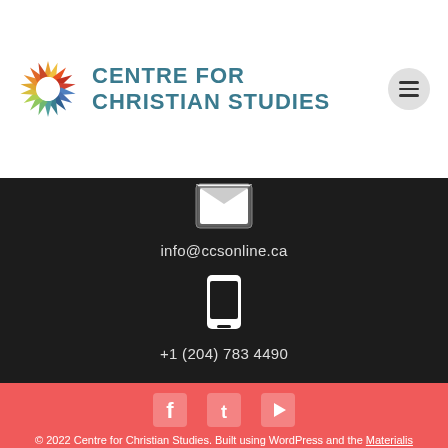[Figure (logo): Centre for Christian Studies logo with sunburst icon and teal text reading CENTRE FOR CHRISTIAN STUDIES]
[Figure (other): Hamburger menu button (three horizontal lines) in a circular grey button]
[Figure (other): White envelope icon on dark background]
info@ccsonline.ca
[Figure (other): White mobile phone/tablet icon on dark background]
+1 (204) 783 4490
[Figure (other): Social media icons: Facebook, Twitter, YouTube on red background]
© 2022 Centre for Christian Studies. Built using WordPress and the Materialis Theme